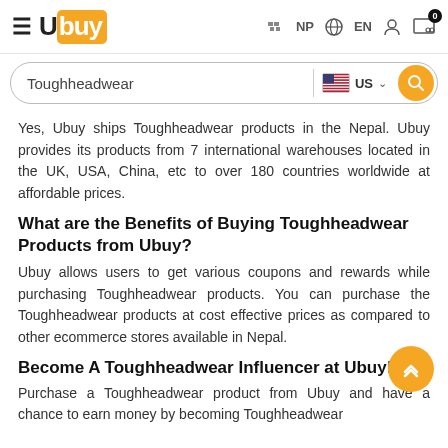Ubuy — NP  EN  [user icon]  [cart 0]
Toughheadwear [search bar, US flag, US, search button]
Yes, Ubuy ships Toughheadwear products in the Nepal. Ubuy provides its products from 7 international warehouses located in the UK, USA, China, etc to over 180 countries worldwide at affordable prices.
What are the Benefits of Buying Toughheadwear Products from Ubuy?
Ubuy allows users to get various coupons and rewards while purchasing Toughheadwear products. You can purchase the Toughheadwear products at cost effective prices as compared to other ecommerce stores available in Nepal.
Become A Toughheadwear Influencer at Ubuy!
Purchase a Toughheadwear product from Ubuy and have a chance to earn money by becoming Toughheadwear